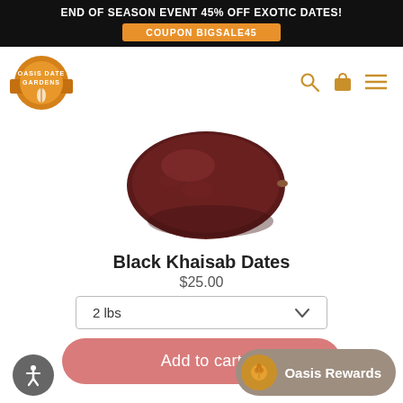END OF SEASON EVENT 45% OFF EXOTIC DATES! COUPON BIGSALE45
[Figure (logo): Oasis Date Gardens circular orange logo with banner ribbons]
[Figure (photo): Close-up photo of a single dark brown/maroon Black Khaisab date fruit on white background]
Black Khaisab Dates
$25.00
2 lbs
Add to cart
Oasis Rewards